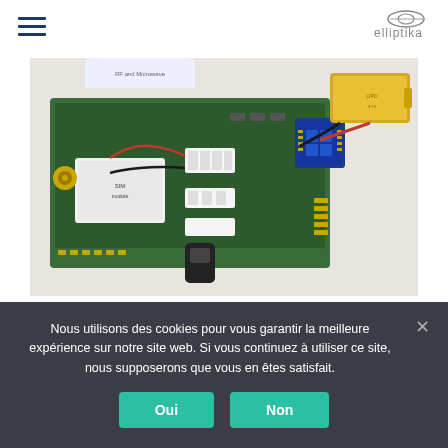elliptika
[Figure (photo): IoT prototyping board with green PCB, white connectors, a yellow lithium battery, a small blue sensor module, wires, and a USB connector on a white surface.]
IOT PROTOTYPING BOARD
Nous utilisons des cookies pour vous garantir la meilleure expérience sur notre site web. Si vous continuez à utiliser ce site, nous supposerons que vous en êtes satisfait.